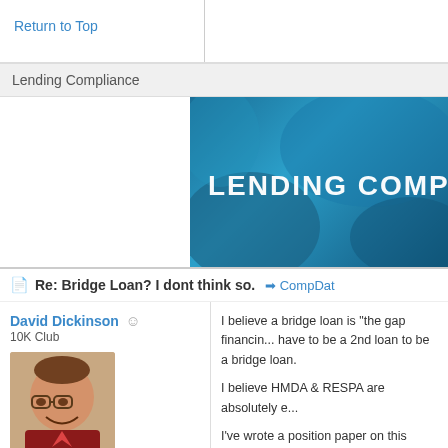Return to Top
Lending Compliance
[Figure (illustration): Blue banner image with text 'LENDING COMPLIANCE' in large white bold letters on a teal/blue gradient background with abstract hand shapes]
Re: Bridge Loan? I dont think so. → CompDat
David Dickinson
10K Club
Joined: Nov 2000
Posts: 18,762
Central City, NE
I believe a bridge loan is "the gap financin... have to be a 2nd loan to be a bridge loan.

I believe HMDA & RESPA are absolutely e...

I've wrote a position paper on this issue. S... website:
http://www.bankerscompliance.com/comp...

David Dickinson
http://www.bankerscompliance.com